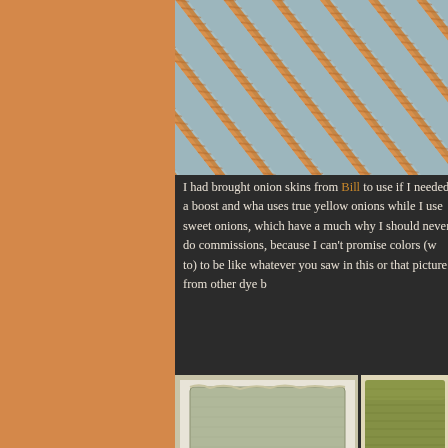[Figure (photo): Close-up of diagonal orange/tan twisted thread or yarn stitching on a light blue-grey textile background, showing a repeating diagonal stripe pattern.]
I had brought onion skins from Bill to use if I needed a boost and wha... uses true yellow onions while I use sweet onions, which have a much... why I should never do commissions, because I can't promise colors (w... to) to be like whatever you saw in this or that picture from other dye b...
[Figure (photo): Two fabric swatches on white paper showing pale greenish-grey knitted or woven textile samples, appearing lightly dyed.]
[Figure (photo): Greenish-gold or olive colored knitted fabric swatches, showing a richer dye result compared to the left samples.]